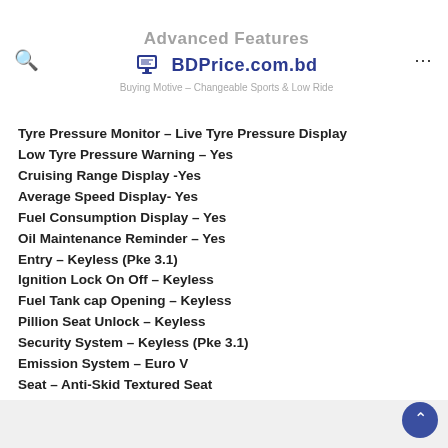Advanced Features
BDPrice.com.bd
Buying Motive – Changeable Sports & Low Ride
Tyre Pressure Monitor – Live Tyre Pressure Display
Low Tyre Pressure Warning – Yes
Cruising Range Display -Yes
Average Speed Display- Yes
Fuel Consumption Display – Yes
Oil Maintenance Reminder – Yes
Entry – Keyless (Pke 3.1)
Ignition Lock On Off – Keyless
Fuel Tank cap Opening – Keyless
Pillion Seat Unlock – Keyless
Security System – Keyless (Pke 3.1)
Emission System – Euro V
Seat – Anti-Skid Textured Seat
Levers – Adjustable
Exhaust – Anti-Scaled Under Belly Stainless Steel Built Titanium
Silencer...